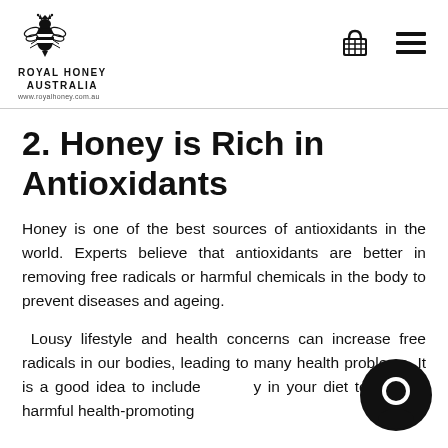ROYAL HONEY AUSTRALIA www.royalhoney.com.au
2. Honey is Rich in Antioxidants
Honey is one of the best sources of antioxidants in the world. Experts believe that antioxidants are better in removing free radicals or harmful chemicals in the body to prevent diseases and ageing.
Lousy lifestyle and health concerns can increase free radicals in our bodies, leading to many health problems. It is a good idea to include honey in your diet to prevent harmful health-promoting